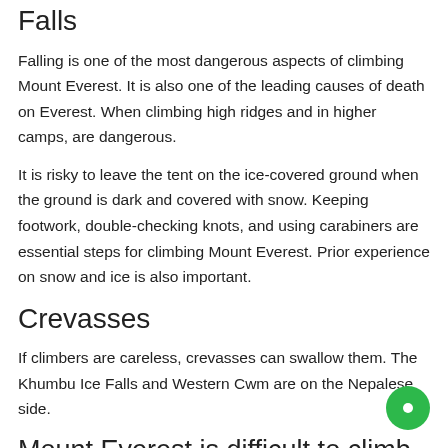Falls
Falling is one of the most dangerous aspects of climbing Mount Everest. It is also one of the leading causes of death on Everest. When climbing high ridges and in higher camps, are dangerous.
It is risky to leave the tent on the ice-covered ground when the ground is dark and covered with snow. Keeping footwork, double-checking knots, and using carabiners are essential steps for climbing Mount Everest. Prior experience on snow and ice is also important.
Crevasses
If climbers are careless, crevasses can swallow them. The Khumbu Ice Falls and Western Cwm are on the Nepalese side.
Mount Everest is difficult to climb without training
Mt. Everest requires extensive training at least six months